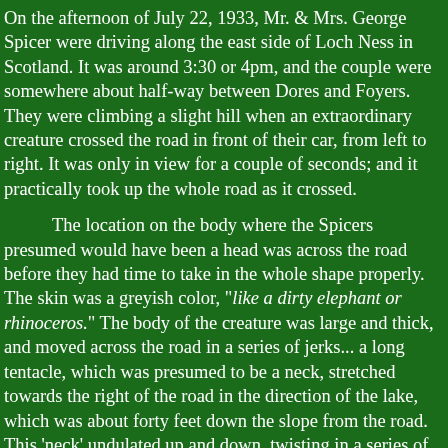On the afternoon of July 22, 1933, Mr. & Mrs. George Spicer were driving along the east side of Loch Ness in Scotland. It was around 3:30 or 4pm, and the couple were somewhere about half-way between Dores and Foyers. They were climbing a slight hill when an extraordinary creature crossed the road in front of their car, from left to right. It was only in view for a couple of seconds; and it practically took up the whole road as it crossed.
The location on the body where the Spicers presumed would have been a head was across the road before they had time to take in the whole shape properly. The skin was a greyish color, "like a dirty elephant or rhinoceros." The body of the creature was large and thick, and moved across the road in a series of jerks... a long tentacle, which was presumed to be a neck, stretched towards the right of the road in the direction of the lake, which was about forty feet down the slope from the road. This 'neck' undulated up and down, twisting in a series of half-hoops, and vanished into the shrubbery on the side of